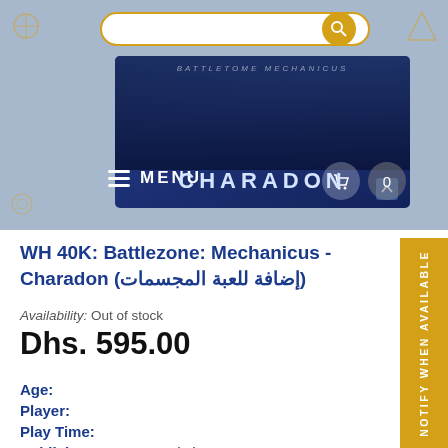[Figure (screenshot): E-commerce website header with search bar, navigation menu, and product box image for WH 40K Battlezone Mechanicus Charadon]
WH 40K: Battlezone: Mechanicus - Charadon (إضافة للعبة المجسمات)
Availability: Out of stock
Dhs. 595.00
Age:
Player:
Play Time:
Publisher: Games Workshop